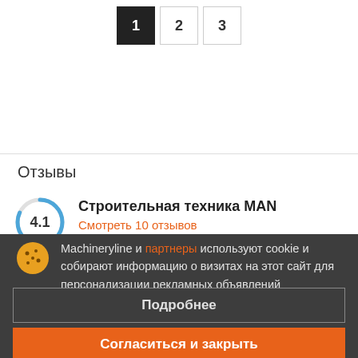[Figure (other): Pagination controls showing pages 1 (active/dark), 2, and 3]
Отзывы
Строительная техника MAN
Смотреть 10 отзывов
Machineryline и партнеры используют cookie и собирают информацию о визитах на этот сайт для персонализации рекламных объявлений
Подробнее
Согласиться и закрыть